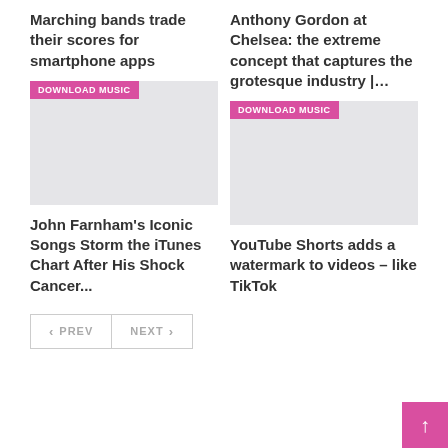Marching bands trade their scores for smartphone apps
Anthony Gordon at Chelsea: the extreme concept that captures the grotesque industry |…
[Figure (screenshot): Gray placeholder image with pink DOWNLOAD MUSIC badge]
[Figure (screenshot): Gray placeholder image with pink DOWNLOAD MUSIC badge]
John Farnham's Iconic Songs Storm the iTunes Chart After His Shock Cancer...
YouTube Shorts adds a watermark to videos – like TikTok